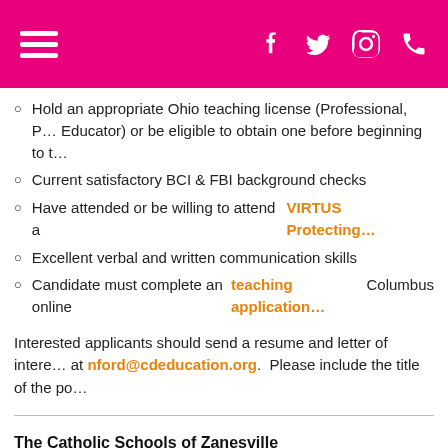Navigation header with hamburger menu and social icons (Facebook, Twitter, Instagram, Phone)
Hold an appropriate Ohio teaching license (Professional, P... Educator) or be eligible to obtain one before beginning to t...
Current satisfactory BCI & FBI background checks
Have attended or be willing to attend a VIRTUS Protecting...
Excellent verbal and written communication skills
Candidate must complete an online teaching application... Columbus
Interested applicants should send a resume and letter of intere... at nford@cdeducation.org.  Please include the title of the po...
The Catholic Schools of Zanesville
K-12 Music Teacher
Full-time
Catholic Preferred but not Required
The Catholic Schools of Zanesville, located at 1040 E. Main Stre... seeking a full-time K-12 Music Teacher for the 2022-2023 scho...